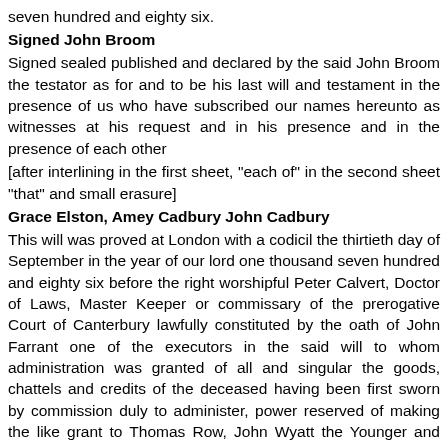seven hundred and eighty six.
Signed John Broom
Signed sealed published and declared by the said John Broom the testator as for and to be his last will and testament in the presence of us who have subscribed our names hereunto as witnesses at his request and in his presence and in the presence of each other
[after interlining in the first sheet, "each of" in the second sheet "that" and small erasure]
Grace Elston, Amey Cadbury John Cadbury
This will was proved at London with a codicil the thirtieth day of September in the year of our lord one thousand seven hundred and eighty six before the right worshipful Peter Calvert, Doctor of Laws, Master Keeper or commissary of the prerogative Court of Canterbury lawfully constituted by the oath of John Farrant one of the executors in the said will to whom administration was granted of all and singular the goods, chattels and credits of the deceased having been first sworn by commission duly to administer, power reserved of making the like grant to Thomas Row, John Wyatt the Younger and John Ballamy otherwise Ballanry, the other executors named in the said will when they or either of them shall apply for the same.